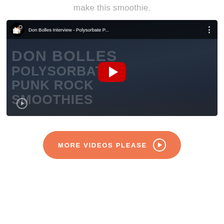make this smoothie.
[Figure (screenshot): YouTube video thumbnail for 'Don Bolles Interview - Polysorbate P...' showing large text overlay reading DON BOLLES POLYSORBATE PUNK ROCK SMOOTHIES with a YouTube play button in the center, on a dark city background.]
MORE VIDEOS PLEASE →